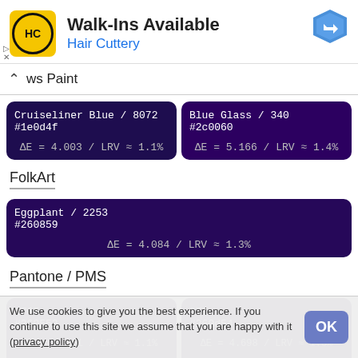[Figure (logo): Hair Cuttery ad banner with HC logo, 'Walk-Ins Available' heading, 'Hair Cuttery' subheading, and navigation icon]
ws Paint
| Cruiseliner Blue / 8072 | #1e0d4f | ΔE = 4.003 / LRV ≈ 1.1% | Blue Glass / 340 | #2c0060 | ΔE = 5.166 / LRV ≈ 1.4% |
FolkArt
| Eggplant / 2253 | #260859 | ΔE = 4.084 / LRV ≈ 1.3% |
Pantone / PMS
| 2765 | #260552 | ΔE = 4.181 / LRV ≈ 1.1% | 275 | #260d54 | ΔE = 4.698 / LRV ≈ 1.3% |
We use cookies to give you the best experience. If you continue to use this site we assume that you are happy with it (privacy policy)